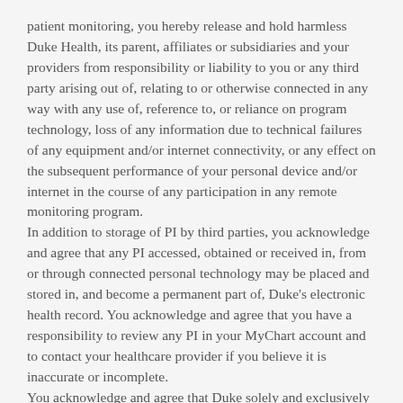patient monitoring, you hereby release and hold harmless Duke Health, its parent, affiliates or subsidiaries and your providers from responsibility or liability to you or any third party arising out of, relating to or otherwise connected in any way with any use of, reference to, or reliance on program technology, loss of any information due to technical failures of any equipment and/or internet connectivity, or any effect on the subsequent performance of your personal device and/or internet in the course of any participation in any remote monitoring program.
In addition to storage of PI by third parties, you acknowledge and agree that any PI accessed, obtained or received in, from or through connected personal technology may be placed and stored in, and become a permanent part of, Duke's electronic health record. You acknowledge and agree that you have a responsibility to review any PI in your MyChart account and to contact your healthcare provider if you believe it is inaccurate or incomplete.
You acknowledge and agree that Duke solely and exclusively owns and holds all rights, title and interest in and to all data,